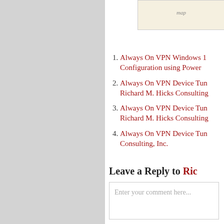[Figure (map): Partial map image visible at top right of content area]
Always On VPN Windows 1 Configuration using Power
Always On VPN Device Tun Richard M. Hicks Consulting
Always On VPN Device Tun Richard M. Hicks Consulting
Always On VPN Device Tun Consulting, Inc.
Leave a Reply to Ric
Enter your comment here...